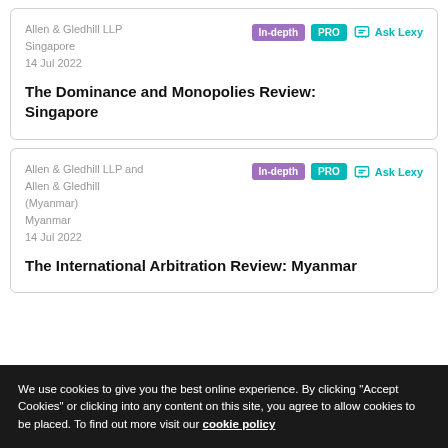Allen & Gledhill LLP
Singapore
14 Jul 2022
The Dominance and Monopolies Review: Singapore
Allen & Gledhill LLP and Allen & Gledhill (Myanmar)
Myanmar
14 Jul 2022
The International Arbitration Review: Myanmar
We use cookies to give you the best online experience. By clicking "Accept Cookies" or clicking into any content on this site, you agree to allow cookies to be placed. To find out more visit our cookie policy